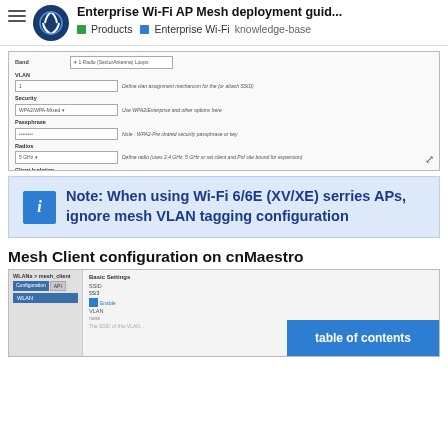Enterprise Wi-Fi AP Mesh deployment guid... | Products > Enterprise Wi-Fi > knowledge-base
[Figure (screenshot): Screenshot of a Wi-Fi WLAN configuration form showing fields: Band, VLAN, Security, Passphrase, Radios, Client Isolation, checkboxes for 802.11r, 802.11k/v Roaming, Mesh Auto Detect Backhaul, Advanced Settings section with Team DHCP Options, Tunnel Mode, Maximum Clients]
Note: When using Wi-Fi 6/6E (XV/XE) serries APs, ignore mesh VLAN tagging configuration
Mesh Client configuration on cnMaestro
[Figure (screenshot): Screenshot of WLANs > mesh_client page in cnMaestro showing Configuration and API tabs, WLAN sidebar item, Basic Settings section with SSID field showing 'SSID', Enable checkbox checked, VLAN field, table of contents button]